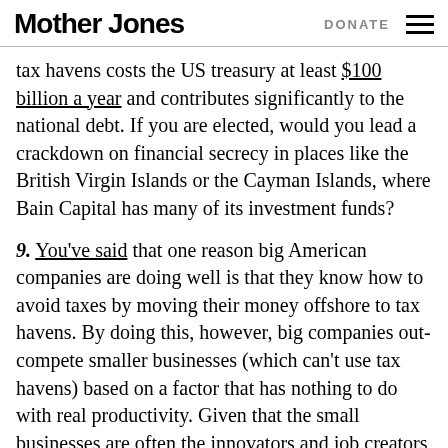Mother Jones  DONATE
tax havens costs the US treasury at least $100 billion a year and contributes significantly to the national debt. If you are elected, would you lead a crackdown on financial secrecy in places like the British Virgin Islands or the Cayman Islands, where Bain Capital has many of its investment funds?
9. You've said that one reason big American companies are doing well is that they know how to avoid taxes by moving their money offshore to tax havens. By doing this, however, big companies out-compete smaller businesses (which can't use tax havens) based on a factor that has nothing to do with real productivity. Given that the small businesses are often the innovators and job creators